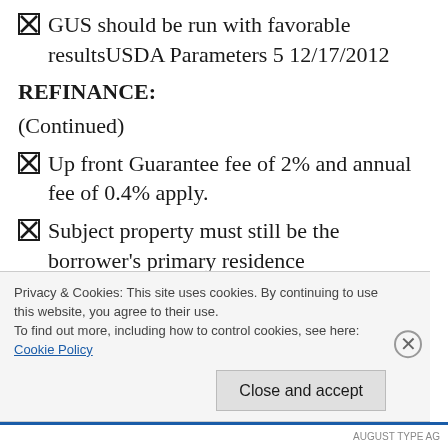GUS should be run with favorable resultsUSDA Parameters 5 12/17/2012
REFINANCE:
(Continued)
Up front Guarantee fee of 2% and annual fee of 0.4% apply.
Subject property must still be the borrower's primary residence
Loan must have been fully documented, underwritten and originated in compliance with
Privacy & Cookies: This site uses cookies. By continuing to use this website, you agree to their use.
To find out more, including how to control cookies, see here:
Cookie Policy
Close and accept